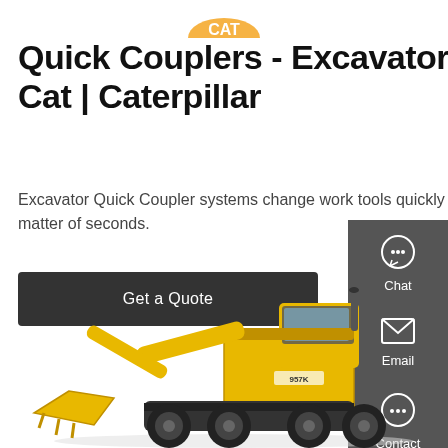[Figure (logo): Partial logo visible at top center of page]
Quick Couplers - Excavator | Cat | Caterpillar
Excavator Quick Coupler systems change work tools quickly and easily in a matter of seconds.
Get a Quote
[Figure (infographic): Right sidebar with Chat, Email, and Contact icons on dark grey background with red dividers]
[Figure (photo): Yellow Caterpillar 957 wheel loader excavator on white background, partial view showing front bucket and cab]